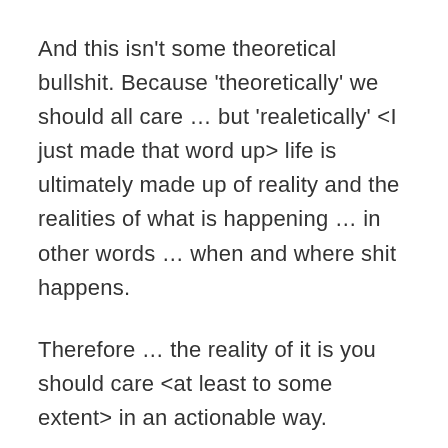And this isn't some theoretical bullshit. Because 'theoretically' we should all care … but 'realetically' <I just made that word up> life is ultimately made up of reality and the realities of what is happening … in other words … when and where shit happens.
Therefore … the reality of it is you should care <at least to some extent> in an actionable way.